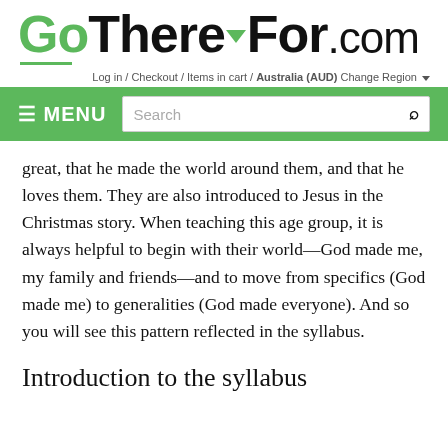GoThereFor.com
Log in / Checkout / Items in cart / Australia (AUD) Change Region
great, that he made the world around them, and that he loves them. They are also introduced to Jesus in the Christmas story. When teaching this age group, it is always helpful to begin with their world—God made me, my family and friends—and to move from specifics (God made me) to generalities (God made everyone). And so you will see this pattern reflected in the syllabus.
Introduction to the syllabus